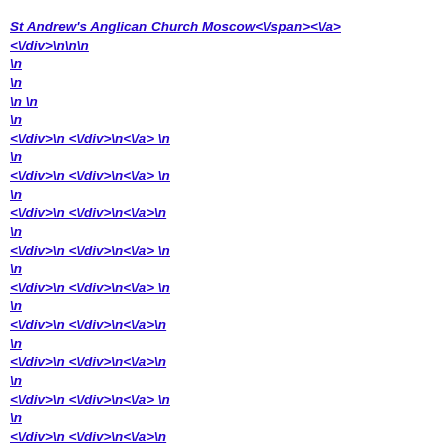St Andrew's Anglican Church Moscow<\/span><\/a>
<\/div>\n\n\n
\n
\n
\n \n
\n
<\/div>\n <\/div>\n<\/a> \n
\n
<\/div>\n <\/div>\n<\/a> \n
\n
<\/div>\n <\/div>\n<\/a>\n
\n
<\/div>\n <\/div>\n<\/a> \n
\n
<\/div>\n <\/div>\n<\/a> \n
\n
<\/div>\n <\/div>\n<\/a>\n
\n
<\/div>\n <\/div>\n<\/a>\n
\n
<\/div>\n <\/div>\n<\/a> \n
\n
<\/div>\n <\/div>\n<\/a>\n
\n